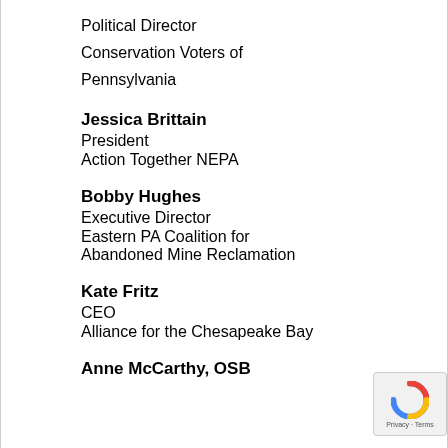Political Director
Conservation Voters of Pennsylvania
Jessica Brittain
President
Action Together NEPA
Bobby Hughes
Executive Director
Eastern PA Coalition for Abandoned Mine Reclamation
Kate Fritz
CEO
Alliance for the Chesapeake Bay
Anne McCarthy, OSB